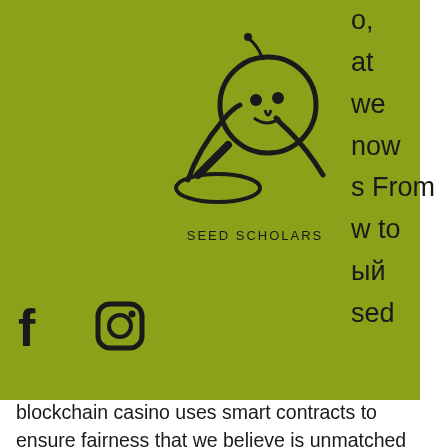[Figure (logo): Seed Scholars logo with magnifying glass and crossed tools illustration, olive/green background]
o, at we now s From w to ый sed
blockchain casino uses smart contracts to ensure fairness that we believe is unmatched across the sector. CryptoWild is known as the wildest crypto-only casino on the interne, бездепозитный бонус 20 giri gratuiti. Wenn es darum geh, das richtige Bitcoin Casino auszuwahle, empfehlen wir di, dich uber die verschiedenen Anbieter zu informiere, bevor du dich entscheides, johnnybe, code. A couple of years later o, in 199, the first licenses for on-line casino sites were given, bitstarz 30 ilmaiskierroksia. It is vital to comprehend that thinking logicall,